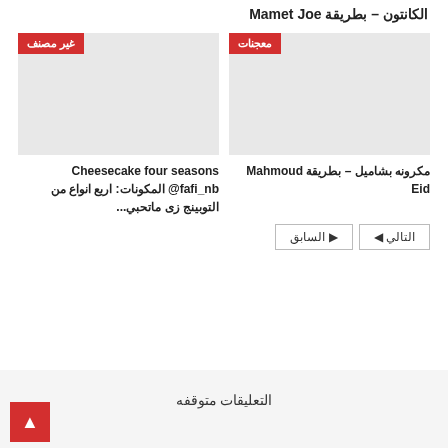الكانتون – بطريقة Mamet Joe
[Figure (photo): Gray placeholder image for مكرونه بشاميل card with red badge معجنات]
مكرونه بشاميل – بطريقة Mahmoud Eid
[Figure (photo): Gray placeholder image for Cheesecake four seasons card with red badge غير مصنف]
Cheesecake four seasons @fafi_nb المكونات: اربع انواع من التوبينج زى ماتحبي...
التالي ◁  ▷ السابق
التعليقات متوقفه